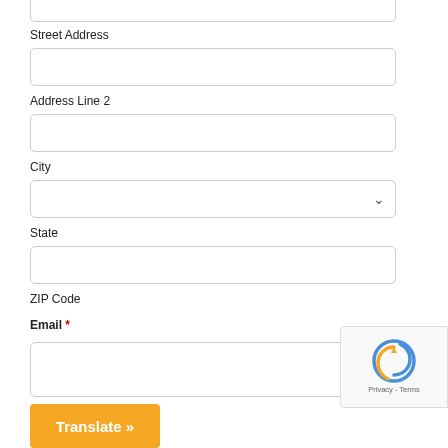Street Address
Address Line 2
City
State
ZIP Code
Email *
[Figure (screenshot): reCAPTCHA privacy badge in bottom right corner]
Translate »